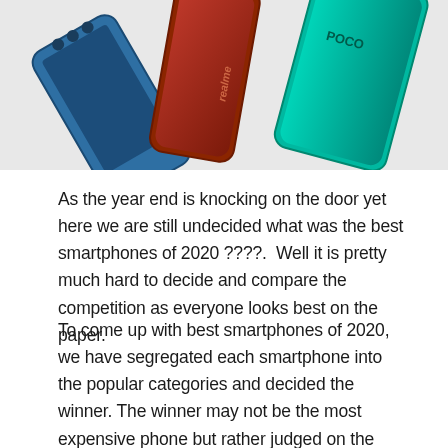[Figure (photo): Three smartphones laid flat on a white surface — a blue phone on the left, a red/brown Realme phone in the center, and a teal/cyan Poco phone on the right]
As the year end is knocking on the door yet here we are still undecided what was the best smartphones of 2020 ????.  Well it is pretty much hard to decide and compare the competition as everyone looks best on the paper.
To come up with best smartphones of 2020, we have segregated each smartphone into the popular categories and decided the winner. The winner may not be the most expensive phone but rather judged on the performance on their expertise area.